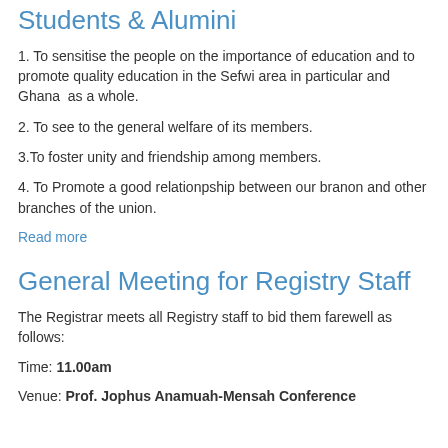Students & Alumini
1. To sensitise the people on the importance of education and to promote quality education in the Sefwi area in particular and Ghana  as a whole.
2. To see to the general welfare of its members.
3.To foster unity and friendship among members.
4. To Promote a good relationpship between our branon and other branches of the union.
Read more
General Meeting for Registry Staff
The Registrar meets all Registry staff to bid them farewell as follows:
Time: 11.00am
Venue: Prof. Jophus Anamuah-Mensah Conference